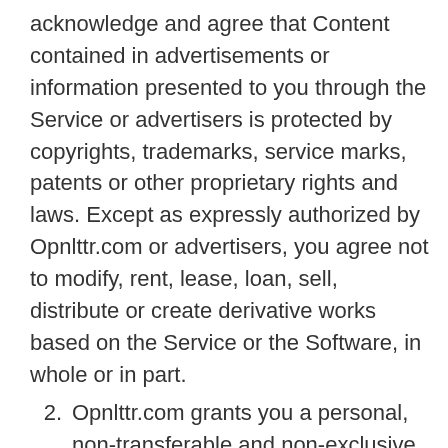acknowledge and agree that Content contained in advertisements or information presented to you through the Service or advertisers is protected by copyrights, trademarks, service marks, patents or other proprietary rights and laws. Except as expressly authorized by Opnlttr.com or advertisers, you agree not to modify, rent, lease, loan, sell, distribute or create derivative works based on the Service or the Software, in whole or in part.
Opnlttr.com grants you a personal, non-transferable and non-exclusive right and license